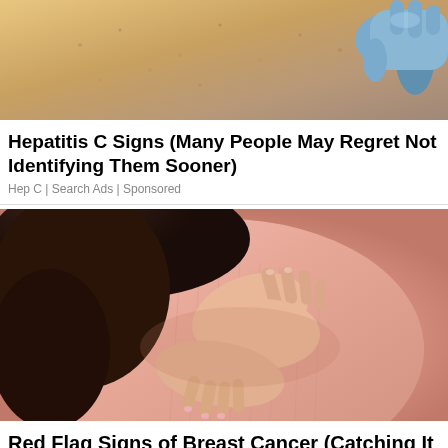[Figure (photo): Close-up photo of skin on arm/body, showing skin texture with small spots/bumps, with a blue-gloved hand touching it]
Hepatitis C Signs (Many People May Regret Not Identifying Them Sooner)
Hep C | Search Ads | Sponsored
[Figure (photo): Woman in pink knit sweater with hands placed on her chest/breast area, self-examination pose]
Red Flag Signs of Breast Cancer (Catching It